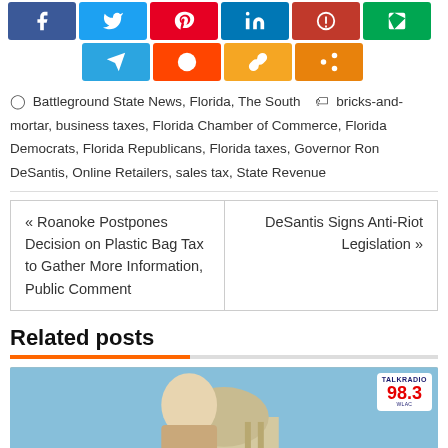[Figure (other): Social media share buttons row 1: Facebook, Twitter, Pinterest, LinkedIn, Google+bookmark, Goodreads]
[Figure (other): Social media share buttons row 2: Telegram, Reddit, Copy link, Share]
Battlegeound State News, Florida, The South   bricks-and-mortar, business taxes, Florida Chamber of Commerce, Florida Democrats, Florida Republicans, Florida taxes, Governor Ron DeSantis, Online Retailers, sales tax, State Revenue
« Roanoke Postpones Decision on Plastic Bag Tax to Gather More Information, Public Comment
DeSantis Signs Anti-Riot Legislation »
Related posts
[Figure (photo): Photo of a blonde woman in front of a capitol building dome, with TalkRadio 98.3 WLAC logo badge in upper right]